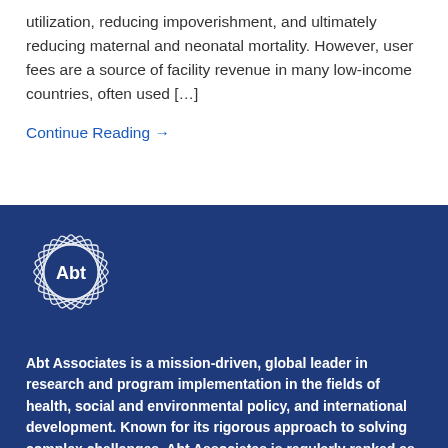utilization, reducing impoverishment, and ultimately reducing maternal and neonatal mortality. However, user fees are a source of facility revenue in many low-income countries, often used […]
Continue Reading →
[Figure (logo): Abt Associates logo: circular badge with geometric diamond/star border design and 'Abt' text in white on dark blue background]
Abt Associates is a mission-driven, global leader in research and program implementation in the fields of health, social and environmental policy, and international development. Known for its rigorous approach to solving complex challenges, Abt Associates is regularly ranked as one of the top 20 global research firms and one of the top 40 international development innovators. The company has multiple offices in the U.S. and